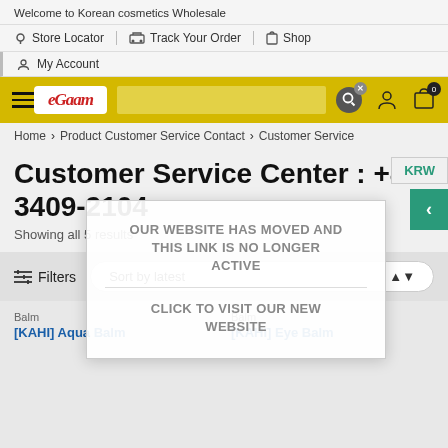Welcome to Korean cosmetics Wholesale
Store Locator | Track Your Order | Shop
My Account
[Figure (screenshot): Yellow navigation bar with hamburger menu, eGoom logo, search icon, account icon, and cart icon showing 0]
Home > Product Customer Service Contact > Customer Service
Customer Service Center : +82 3409-2104
Showing all 5 results
[Figure (infographic): Overlay popup: OUR WEBSITE HAS MOVED AND THIS LINK IS NO LONGER ACTIVE / CLICK TO VISIT OUR NEW WEBSITE]
KRW
Filters   Sort by latest
Balm
[KAHI] Aqua Balm
Balm
[KAHI] Eye Balm